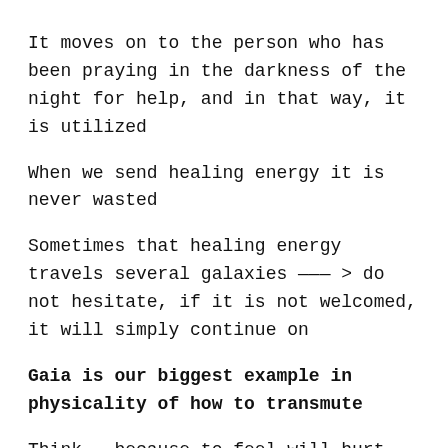It moves on to the person who has been praying in the darkness of the night for help, and in that way, it is utilized
When we send healing energy it is never wasted
Sometimes that healing energy travels several galaxies ——— > do not hesitate, if it is not welcomed, it will simply continue on
Gaia is our biggest example in physicality of how to transmute
Think — because to feel will hurt too much —